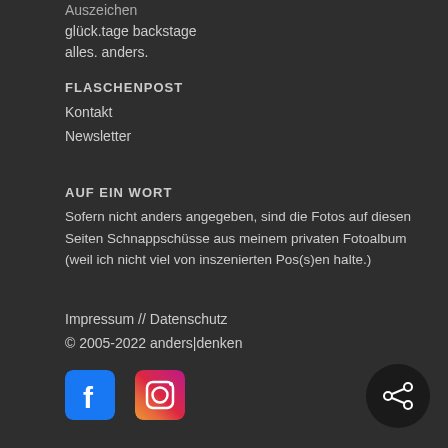Auszeichen
glück.tage backstage
alles. anders.
FLASCHENPOST
Kontakt
Newsletter
AUF EIN WORT
Sofern nicht anders angegeben, sind die Fotos auf diesen Seiten Schnappschüsse aus meinem privaten Fotoalbum (weil ich nicht viel von inszenierten Pos(s)en halte.)
Impressum // Datenschutz
© 2005-2022 anders|denken
[Figure (logo): Facebook logo icon - blue background with white F letter]
[Figure (logo): Instagram logo icon - gradient pink/orange/purple background with camera icon]
[Figure (other): Dark circular share button with share/network icon in white]